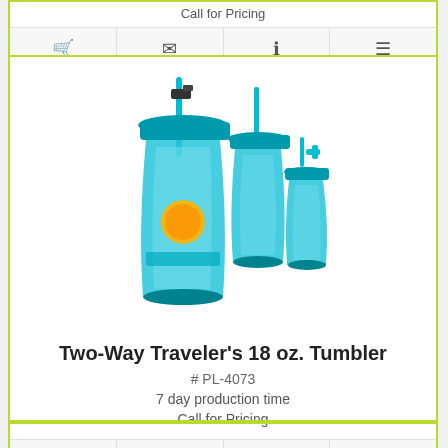Call for Pricing
[Figure (photo): Three teal/turquoise plastic tumblers of varying sizes with straws and lids, one with a logo imprint, displayed on white background]
Two-Way Traveler's 18 oz. Tumbler
# PL-4073
7 day production time
Call for Pricing